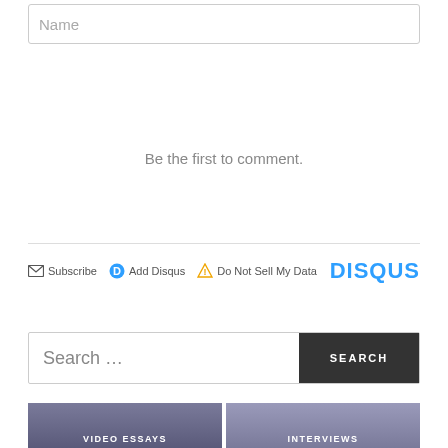Name
Be the first to comment.
Subscribe  Add Disqus  Do Not Sell My Data  DISQUS
Search …
[Figure (screenshot): Two thumbnail images side by side: left shows a man's face with text VIDEO ESSAYS, right shows another man with text INTERVIEWS]